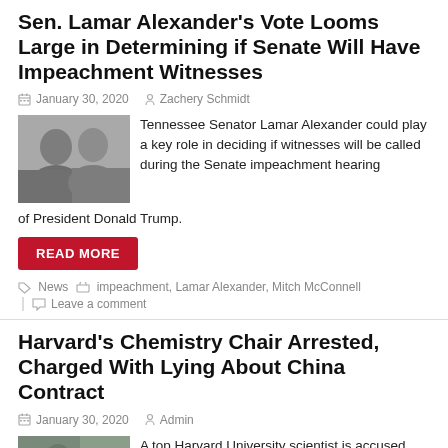Sen. Lamar Alexander’s Vote Looms Large in Determining if Senate Will Have Impeachment Witnesses
January 30, 2020   Zachery Schmidt
[Figure (photo): Photo of two men, likely Lamar Alexander and Donald Trump]
Tennessee Senator Lamar Alexander could play a key role in deciding if witnesses will be called during the Senate impeachment hearing of President Donald Trump.
READ MORE
News   impeachment, Lamar Alexander, Mitch McConnell
Leave a comment
Harvard’s Chemistry Chair Arrested, Charged With Lying About China Contract
January 30, 2020   Admin
[Figure (photo): Photo related to Harvard chemistry chair arrest]
A top Harvard University scientist is accused